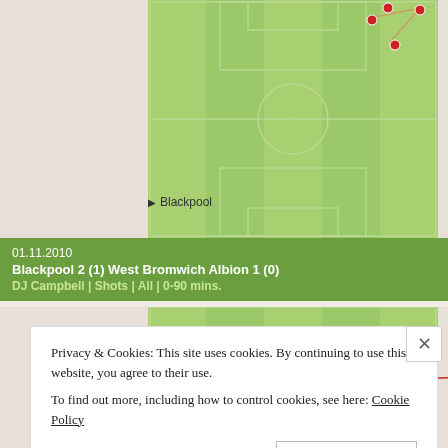[Figure (other): Top half of a football/soccer pitch diagram showing shot locations with red dots and connecting lines in the upper right area of the pitch. A team label 'Blackpool' with a right-pointing arrow is visible at the bottom left of this section.]
▶ Blackpool
01.11.2010
Blackpool 2 (1) West Bromwich Albion 1 (0)
DJ Campbell | Shots | All | 0-90 mins.
[Figure (other): Bottom half of a football/soccer pitch diagram showing shot locations with red dots and a blue dot, with connecting lines/arrows indicating shot directions in the lower right area of the pitch (near the goal).]
Privacy & Cookies: This site uses cookies. By continuing to use this website, you agree to their use.
To find out more, including how to control cookies, see here: Cookie Policy
Close and accept